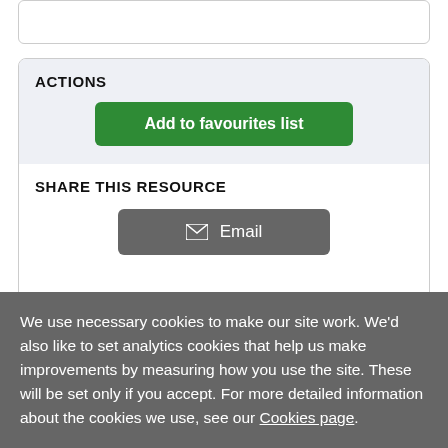ACTIONS
Add to favourites list
SHARE THIS RESOURCE
Email
We use necessary cookies to make our site work. We'd also like to set analytics cookies that help us make improvements by measuring how you use the site. These will be set only if you accept. For more detailed information about the cookies we use, see our Cookies page.